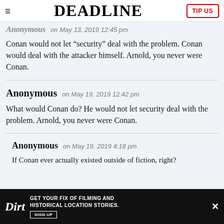DEADLINE
Anonymous on May 13, 2019 12:45 pm
Conan would not let “security” deal with the problem. Conan would deal with the attacker himself. Arnold, you never were Conan.
Anonymous on May 19, 2019 12:42 pm
What would Conan do? He would not let security deal with the problem. Arnold, you never were Conan.
Anonymous on May 19, 2019 4:18 pm
If Conan ever actually existed outside of fiction, right?
[Figure (other): Dirt advertisement banner: GET YOUR FIX OF FILMING AND HISTORICAL LOCATION STORIES. SIGN UP]